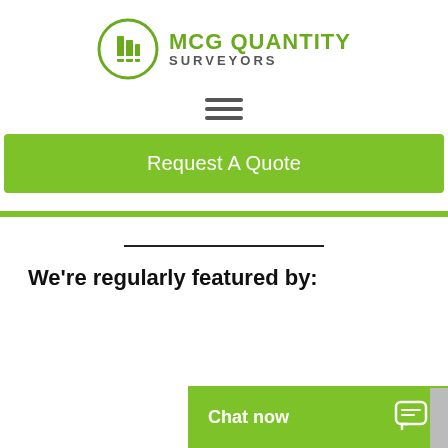[Figure (logo): MCG Quantity Surveyors logo with green building icon in a circle and green text]
[Figure (other): Hamburger menu icon with three horizontal lines]
Request A Quote
We’re regularly featured by:
Chat now